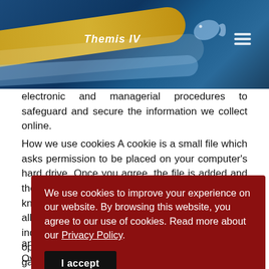[Figure (logo): Themis IV website header banner with blue/teal wave design, gold stripe, fish silhouette, logo text 'Themis IV', and hamburger menu icon]
security. We are committed to ensuring that your information is secure. To prevent unauthorised access or disclosure, we have in place suitable physical, electronic and managerial procedures to safeguard and secure the information we collect online.
How we use cookies A cookie is a small file which asks permission to be placed on your computer's hard drive. Once you agree, the file is added and the cookie helps analyse web traffic or lets you know when you visit a particular site. Cookies allow web applications to respond to you as an individual. The web application can tailor its operations to your needs, likes and dislikes by gathering and remembering information about your preferences.
We use cookies to improve your experience on our website. By browsing this website, you agree to our use of cookies. Read more about our Privacy Policy. I accept
We only use this information for statistical analysis purposes and then the data is removed from the system. Overall